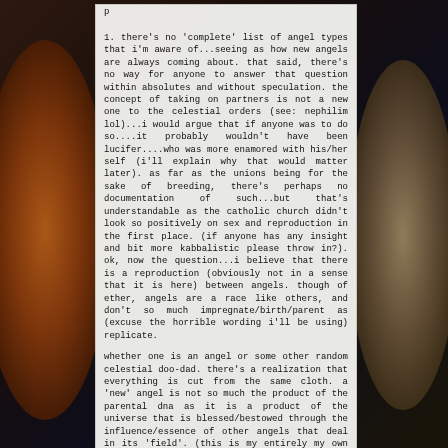1. there's no 'complete' list of angel types that i'm aware of...seeing as how new angels are always coming about. that said, there's no way for anyone to answer that question within absolutes and without speculation. the concept of taking on partners is not a new one to the celestial orders (see: nephilim lol)...i would argue that if anyone was to do so....it probably wouldn't have been lucifer....who was more enamored with his/her self (i'll explain why that would matter later). as far as the unions being for the sake of breeding, there's perhaps no documentation of such...but that's understandable as the catholic church didn't look so positively on sex and reproduction in the first place. (if anyone has any insight and bit more kabbalistic please throw in?). ok, now the question...i believe that there is a reproduction (obviously not in a sense that it is here) between angels. though of ether, angels are a race like others, and don't so much impregnate/birth/parent as (excuse the horrible wording i'll be using) replicate.
whether one is an angel or some other random celestial doo-dad. there's a realization that everything is cut from the same cloth. a 'new' angel is not so much the product of the parental dna as it is a product of the universe that is blessed/bestowed through the influence/essence of other angels that deal in its 'field'. (this is my entirely my own take, so i have no references sorry...it's even more a theory.) so then the development (development is another topic i realize, but real quick...i feel that the original angels came 'as is' though throughout time, the influence of mortal existence...and the need to work alongside physical reality....has given way to